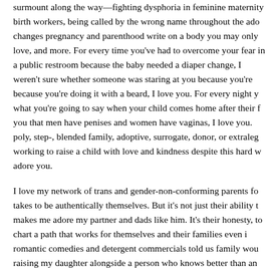surmount along the way—fighting dysphoria in feminine maternity birth workers, being called by the wrong name throughout the adoption changes pregnancy and parenthood write on a body you may only love, and more. For every time you've had to overcome your fear in a public restroom because the baby needed a diaper change, I weren't sure whether someone was staring at you because you're because you're doing it with a beard, I love you. For every night you what you're going to say when your child comes home after their f you that men have penises and women have vaginas, I love you. poly, step-, blended family, adoptive, surrogate, donor, or extralegal working to raise a child with love and kindness despite this hard w adore you.
I love my network of trans and gender-non-conforming parents for takes to be authentically themselves. But it's not just their ability to makes me adore my partner and dads like him. It's their honesty, t to chart a path that works for themselves and their families even if romantic comedies and detergent commercials told us family wou raising my daughter alongside a person who knows better than an